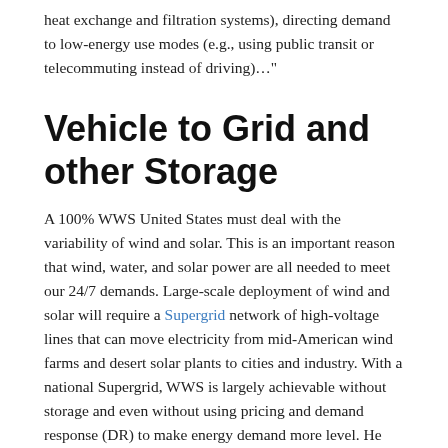heat exchange and filtration systems), directing demand to low-energy use modes (e.g., using public transit or telecommuting instead of driving)…"
Vehicle to Grid and other Storage
A 100% WWS United States must deal with the variability of wind and solar. This is an important reason that wind, water, and solar power are all needed to meet our 24/7 demands. Large-scale deployment of wind and solar will require a Supergrid network of high-voltage lines that can move electricity from mid-American wind farms and desert solar plants to cities and industry. With a national Supergrid, WWS is largely achievable without storage and even without using pricing and demand response (DR) to make energy demand more level. He walked me through a California study that he co-lead in 2005 showing that WWS would meet 99% of California needs, even during peak hours on a burning summer day. With our growing use of DR, intelligent energy